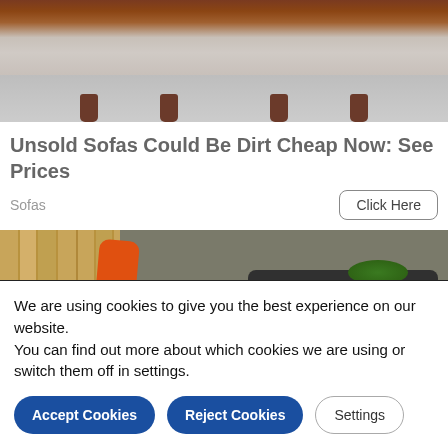[Figure (photo): Bottom portion of a brown leather sofa showing legs on a grey floor]
Unsold Sofas Could Be Dirt Cheap Now: See Prices
Sofas
[Figure (photo): Orange mini excavator working next to a wooden fence, digging up muddy soil]
We are using cookies to give you the best experience on our website.
You can find out more about which cookies we are using or switch them off in settings.